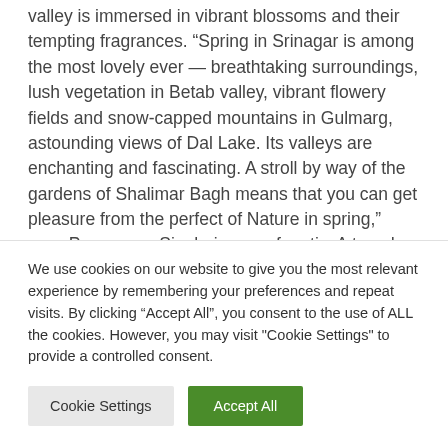valley is immersed in vibrant blossoms and their tempting fragrances. “Spring in Srinagar is among the most lovely ever — breathtaking surroundings, lush vegetation in Betab valley, vibrant flowery fields and snow-capped mountains in Gulmarg, astounding views of Dal Lake. Its valleys are enchanting and fascinating. A stroll by way of the gardens of Shalimar Bagh means that you can get pleasure from the perfect of Nature in spring,” says Paramveer Singh, journey fanatic. A two-day keep in Srinagar would price between 6,000 and seven,000 rupees.
We use cookies on our website to give you the most relevant experience by remembering your preferences and repeat visits. By clicking “Accept All”, you consent to the use of ALL the cookies. However, you may visit "Cookie Settings" to provide a controlled consent.